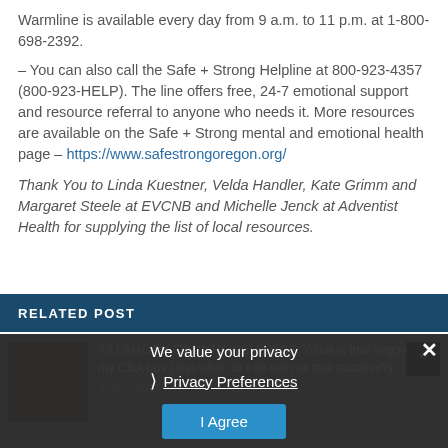Warmline is available every day from 9 a.m. to 11 p.m. at 1-800-698-2392.
– You can also call the Safe + Strong Helpline at 800-923-4357 (800-923-HELP). The line offers free, 24-7 emotional support and resource referral to anyone who needs it. More resources are available on the Safe + Strong mental and emotional health page – https://www.safestrongoregon.org/
Thank You to Linda Kuestner, Velda Handler, Kate Grimm and Margaret Steele at EVCNB and Michelle Jenck at Adventist Health for supplying the list of local resources.
RELATED POST
[Figure (screenshot): Related post thumbnail image showing food/vegetables, partially obscured by privacy overlay]
TILLAMOOK COUNTY WELLNESS: What is that veggie in my CSA box (and what do I do with all that zucchini?)
We value your privacy
Privacy Preferences
I Agree